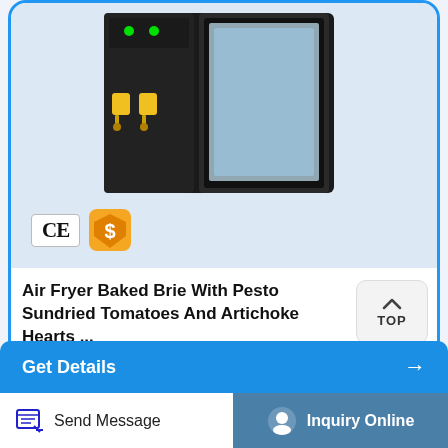[Figure (photo): Air fryer oven product image with CE certification badge and gold supplier badge]
Air Fryer Baked Brie With Pesto Sundried Tomatoes And Artichoke Hearts ...
Place the brie in the center of the air fryer basket and air fry until the pastry is golden brown and cooked through, about 18 minutes. Let sit for 5 minutes, then serve warm with the toasted ...
Get Details →
Send Message
Inquiry Online